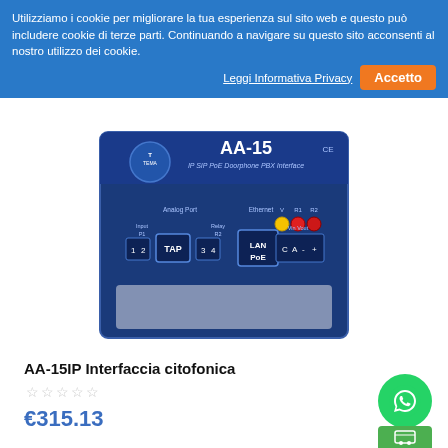Utilizziamo i cookie per migliorare la tua esperienza sul sito web e questo può includere cookie di terze parti. Continuando a navigare su questo sito acconsenti al nostro utilizzo dei cookie.
Leggi Informativa Privacy
Accetto
[Figure (photo): TEMA AA-15 IP SIP PoE Doorphone PBX Interface device showing front panel with Analog Port, TAP, LAN PoE Ethernet, indicator LEDs (V, R1, R2), and Vin/Vout terminals]
AA-15IP Interfaccia citofonica
☆☆☆☆☆
€315.13